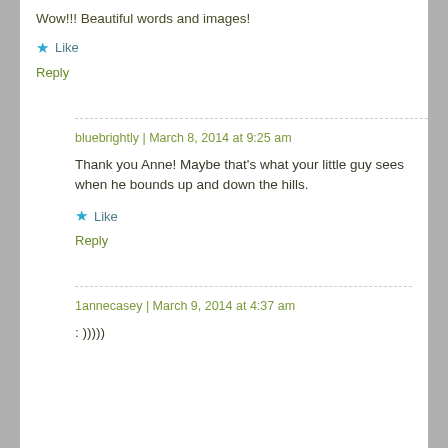Wow!!! Beautiful words and images!
Like
Reply
bluebrightly | March 8, 2014 at 9:25 am
Thank you Anne! Maybe that’s what your little guy sees when he bounds up and down the hills.
Like
Reply
1annecasey | March 9, 2014 at 4:37 am
: )))))